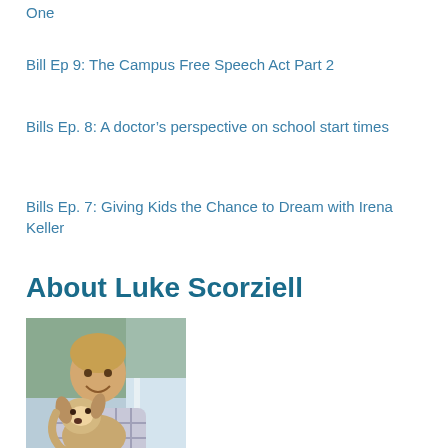One
Bill Ep 9: The Campus Free Speech Act Part 2
Bills Ep. 8: A doctor’s perspective on school start times
Bills Ep. 7: Giving Kids the Chance to Dream with Irena Keller
About Luke Scorziell
[Figure (photo): Photo of Luke Scorziell smiling and holding a dog, taken outdoors near a window]